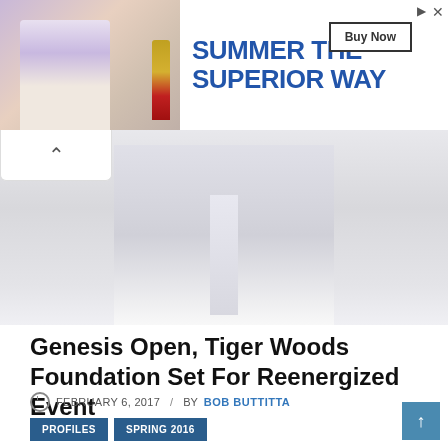[Figure (photo): Advertisement banner: photo of person at table with drink bottle on left; text 'SUMMER THE SUPERIOR WAY' in blue on right with 'Buy Now' button]
[Figure (photo): Hero image of a person in a white dress shirt and tie, cropped to show torso]
Genesis Open, Tiger Woods Foundation Set For Reenergized Event
FEBRUARY 6, 2017  /  BY BOB BUTTITTA
PROFILES
SPRING 2016